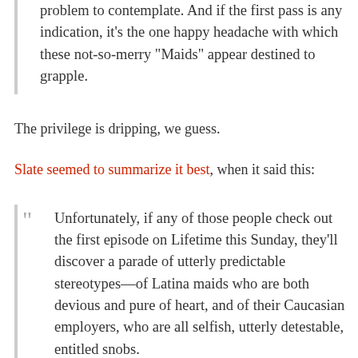problem to contemplate. And if the first pass is any indication, it’s the one happy headache with which these not-so-merry “Maids” appear destined to grapple.
The privilege is dripping, we guess.
Slate seemed to summarize it best, when it said this:
“ Unfortunately, if any of those people check out the first episode on Lifetime this Sunday, they’ll discover a parade of utterly predictable stereotypes—of Latina maids who are both devious and pure of heart, and of their Caucasian employers, who are all selfish, utterly detestable, entitled snobs.